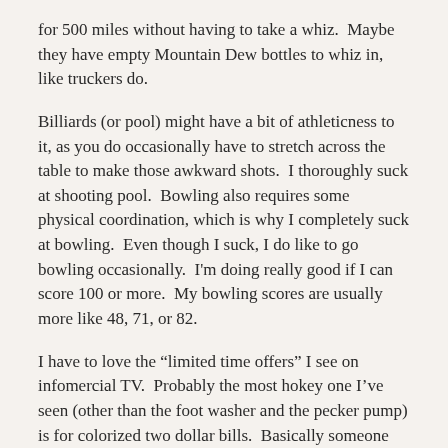for 500 miles without having to take a whiz.  Maybe they have empty Mountain Dew bottles to whiz in, like truckers do.
Billiards (or pool) might have a bit of athleticness to it, as you do occasionally have to stretch across the table to make those awkward shots.  I thoroughly suck at shooting pool.  Bowling also requires some physical coordination, which is why I completely suck at bowling.  Even though I suck, I do like to go bowling occasionally.  I'm doing really good if I can score 100 or more.  My bowling scores are usually more like 48, 71, or 82.
I have to love the “limited time offers” I see on infomercial TV.  Probably the most hokey one I’ve seen (other than the foot washer and the pecker pump) is for colorized two dollar bills.  Basically someone thinks I am going to pay $10 plus freight for $4.  Not in this lifetime.